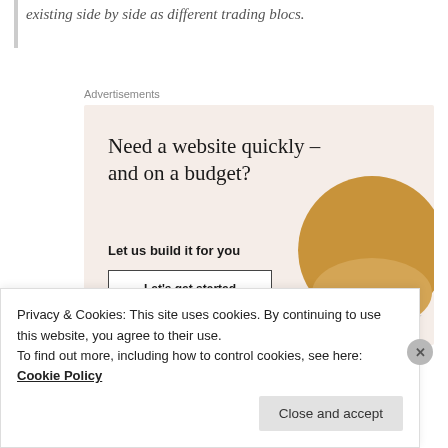existing side by side as different trading blocs.
Advertisements
[Figure (infographic): Advertisement banner with beige/cream background. Headline: 'Need a website quickly – and on a budget?' Subtext: 'Let us build it for you'. Button: 'Let's get started'. Right side shows a circular cropped photo of a person's hands working on a laptop/tablet.]
Privacy & Cookies: This site uses cookies. By continuing to use this website, you agree to their use.
To find out more, including how to control cookies, see here: Cookie Policy
Close and accept